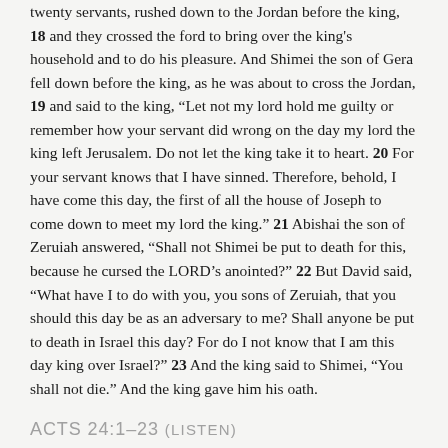twenty servants, rushed down to the Jordan before the king, 18 and they crossed the ford to bring over the king's household and to do his pleasure. And Shimei the son of Gera fell down before the king, as he was about to cross the Jordan, 19 and said to the king, “Let not my lord hold me guilty or remember how your servant did wrong on the day my lord the king left Jerusalem. Do not let the king take it to heart. 20 For your servant knows that I have sinned. Therefore, behold, I have come this day, the first of all the house of Joseph to come down to meet my lord the king.” 21 Abishai the son of Zeruiah answered, “Shall not Shimei be put to death for this, because he cursed the LORD’s anointed?” 22 But David said, “What have I to do with you, you sons of Zeruiah, that you should this day be as an adversary to me? Shall anyone be put to death in Israel this day? For do I not know that I am this day king over Israel?” 23 And the king said to Shimei, “You shall not die.” And the king gave him his oath.
Acts 24:1–23 (listen)